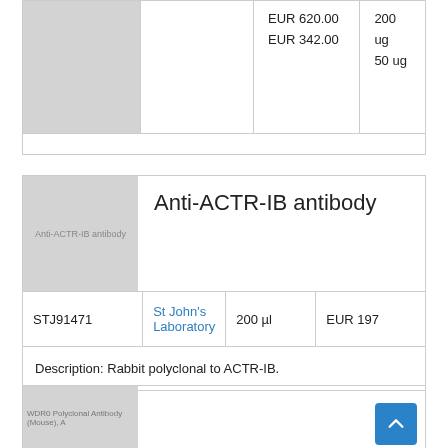| Image | Product | Price | Quantity |
| --- | --- | --- | --- |
|  |  | EUR 620.00
EUR 342.00 | 200
ug
50 ug |
Anti-ACTR-IB antibody
| Catalog No. | Supplier | Volume | Price |
| --- | --- | --- | --- |
| STJ91471 | St John's Laboratory | 200 µl | EUR 197 |
Description: Rabbit polyclonal to ACTR-IB.
[Figure (photo): Partial product image placeholder at bottom of page]